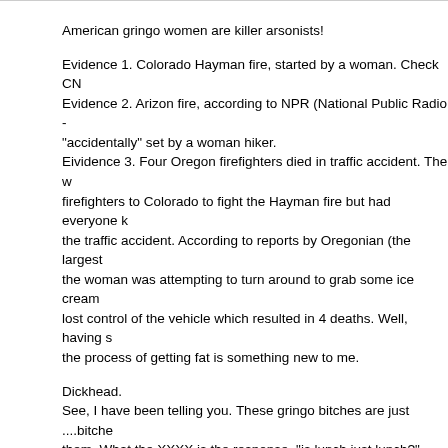American gringo women are killer arsonists!
Evidence 1. Colorado Hayman fire, started by a woman. Check CN
Evidence 2. Arizon fire, according to NPR (National Public Radio -
"accidentally" set by a woman hiker.
Eividence 3. Four Oregon firefighters died in traffic accident. The w
firefighters to Colorado to fight the Hayman fire but had everyone k
the traffic accident. According to reports by Oregonian (the largest
the woman was attempting to turn around to grab some ice cream 
lost control of the vehicle which resulted in 4 deaths. Well, having s
the process of getting fat is something new to me.
Dickhead.
See, I have been telling you. These gringo bitches are just ....bitche
them. What the XXXX is the response, "is lunch just lunch?" Now, i
with Dickhead, just say, "hey Dick, thanks but I am seeing someone
approach), or if you want to be 100% frank, say "hey Dick, thank yo
let's keep our friendship just at the gym". "is lunch just lunch?" XXX
am going to feed you lunch and you are going to suck my rooster...
joe_zop
nofatso is sex for short term, as in less than a week only. i may "go
cannine a couple of times and then split quick. I don't do last night's
************* forum. Of course, we are dealing with short term sex, a
deal. If you want to talk about relationship, I have the Oprah site fo
understand is, I read a lot about relationship on this site. Are you gu
looking for a wife in a **** house? :). doesn't make sense.